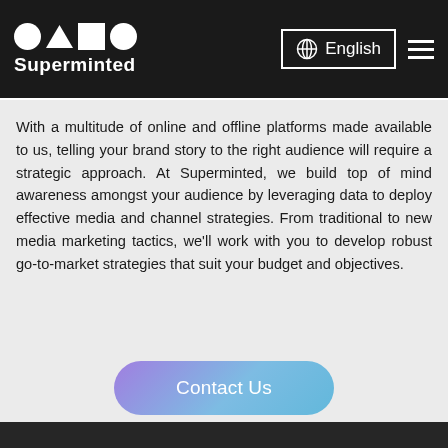Superminted — English
With a multitude of online and offline platforms made available to us, telling your brand story to the right audience will require a strategic approach. At Superminted, we build top of mind awareness amongst your audience by leveraging data to deploy effective media and channel strategies. From traditional to new media marketing tactics, we'll work with you to develop robust go-to-market strategies that suit your budget and objectives.
Contact Us